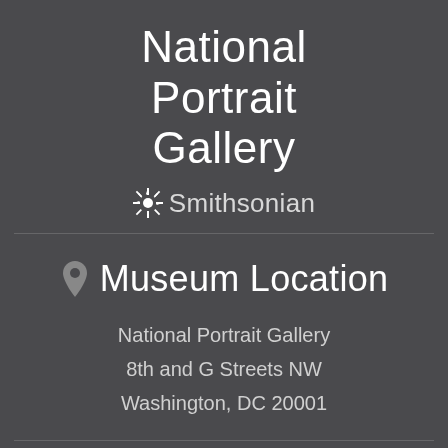National Portrait Gallery
✳ Smithsonian
Museum Location
National Portrait Gallery
8th and G Streets NW
Washington, DC 20001
Hours
Open 7 days a week